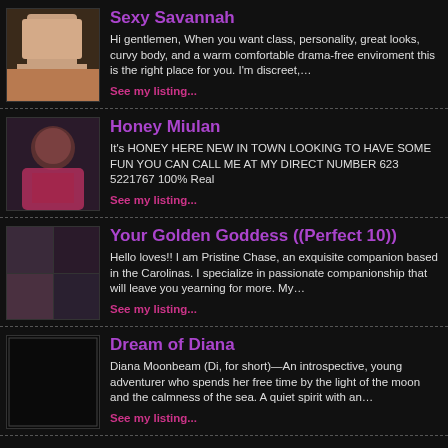Sexy Savannah — Hi gentlemen, When you want class, personality, great looks, curvy body, and a warm comfortable drama-free enviroment this is the right place for you. I'm discreet,… See my listing...
Honey Miulan — It's HONEY HERE NEW IN TOWN LOOKING TO HAVE SOME FUN YOU CAN CALL ME AT MY DIRECT NUMBER 623 5221767 100% Real See my listing...
Your Golden Goddess ((Perfect 10)) — Hello loves!! I am Pristine Chase, an exquisite companion based in the Carolinas. I specialize in passionate companionship that will leave you yearning for more. My… See my listing...
Dream of Diana — Diana Moonbeam (Di, for short)—An introspective, young adventurer who spends her free time by the light of the moon and the calmness of the sea. A quiet spirit with an… See my listing...